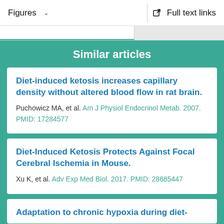Figures   ∨        Full text links
Similar articles
Diet-induced ketosis increases capillary density without altered blood flow in rat brain. Puchowicz MA, et al. Am J Physiol Endocrinol Metab. 2007. PMID: 17284577
Diet-Induced Ketosis Protects Against Focal Cerebral Ischemia in Mouse. Xu K, et al. Adv Exp Med Biol. 2017. PMID: 28685447
Adaptation to chronic hypoxia during diet-